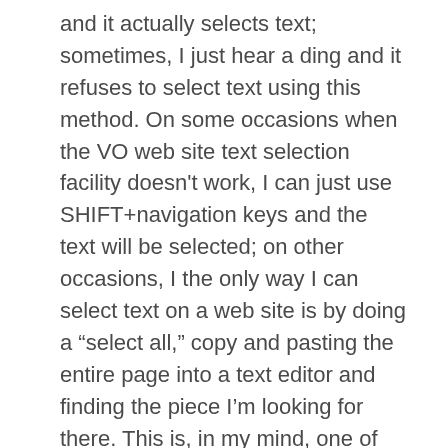and it actually selects text; sometimes, I just hear a ding and it refuses to select text using this method. On some occasions when the VO web site text selection facility doesn't work, I can just use SHIFT+navigation keys and the text will be selected; on other occasions, I the only way I can select text on a web site is by doing a “select all,” copy and pasting the entire page into a text editor and finding the piece I’m looking for there. This is, in my mind, one of the worst problems with VO on OSX.